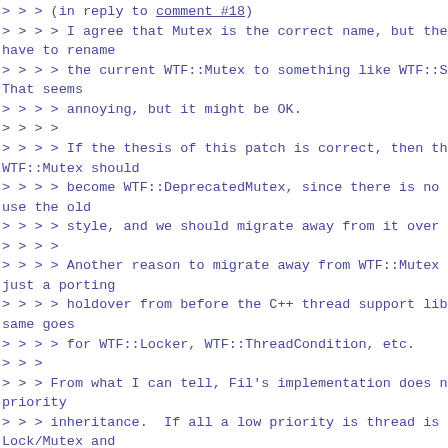> > > (in reply to comment #18)
> > > > I agree that Mutex is the correct name, but the have to rename
> > > > the current WTF::Mutex to something like WTF::S That seems
> > > > annoying, but it might be OK.
> > > >
> > > > If the thesis of this patch is correct, then the WTF::Mutex should
> > > > become WTF::DeprecatedMutex, since there is no go use the old
> > > > style, and we should migrate away from it over ti
> > > >
> > > > Another reason to migrate away from WTF::Mutex is just a porting
> > > > holdover from before the C++ thread support libra same goes
> > > > for WTF::Locker, WTF::ThreadCondition, etc.
> > >
> > > From what I can tell, Fil's implementation does not priority
> > > inheritance.  If all a low priority is thread is ho Lock/Mutex and
> > > high priority threads are waiting on the ConditionV thread of
> > > the Lock will continue to run at a low priority rel high
> > > priority threads.  Does WebKit rely on priority inh anywhere?
> >
> > True.  Our SpinLock also doesn't support priority inh